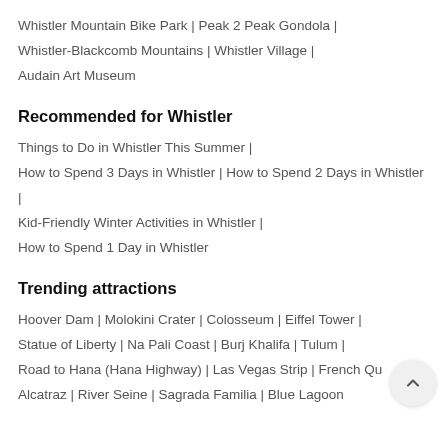Whistler Mountain Bike Park | Peak 2 Peak Gondola | Whistler-Blackcomb Mountains | Whistler Village | Audain Art Museum
Recommended for Whistler
Things to Do in Whistler This Summer | How to Spend 3 Days in Whistler | How to Spend 2 Days in Whistler | Kid-Friendly Winter Activities in Whistler | How to Spend 1 Day in Whistler
Trending attractions
Hoover Dam | Molokini Crater | Colosseum | Eiffel Tower | Statue of Liberty | Na Pali Coast | Burj Khalifa | Tulum | Road to Hana (Hana Highway) | Las Vegas Strip | French Qu... Alcatraz | River Seine | Sagrada Familia | Blue Lagoon